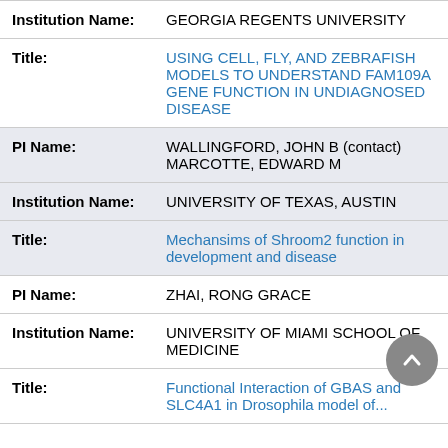| Field | Value |
| --- | --- |
| Institution Name: | GEORGIA REGENTS UNIVERSITY |
| Title: | USING CELL, FLY, AND ZEBRAFISH MODELS TO UNDERSTAND FAM109A GENE FUNCTION IN UNDIAGNOSED DISEASE |
| PI Name: | WALLINGFORD, JOHN B (contact)
MARCOTTE, EDWARD M |
| Institution Name: | UNIVERSITY OF TEXAS, AUSTIN |
| Title: | Mechansims of Shroom2 function in development and disease |
| PI Name: | ZHAI, RONG GRACE |
| Institution Name: | UNIVERSITY OF MIAMI SCHOOL OF MEDICINE |
| Title: | Functional Interaction of GBAS and SLC4A1 in Drosophila model of... |